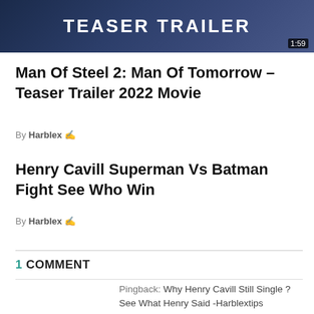[Figure (screenshot): Video thumbnail with dark blue background showing text TEASER TRAILER in large white letters, with duration badge 1:59 in bottom-right corner]
Man Of Steel 2: Man Of Tomorrow – Teaser Trailer 2022 Movie
By Harblex ✍
Henry Cavill Superman Vs Batman Fight See Who Win
By Harblex ✍
1 COMMENT
Pingback: Why Henry Cavill Still Single ? See What Henry Said -Harblextips